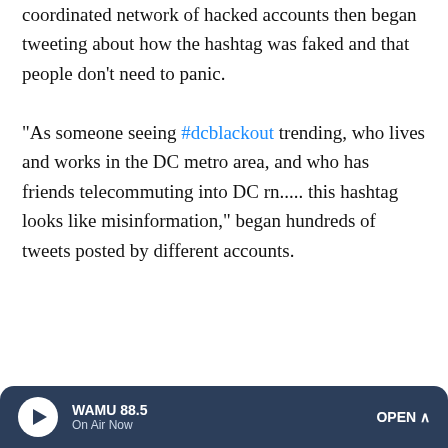coordinated network of hacked accounts then began tweeting about how the hashtag was faked and that people don't need to panic.
"As someone seeing #dcblackout trending, who lives and works in the DC metro area, and who has friends telecommuting into DC rn..... this hashtag looks like misinformation," began hundreds of tweets posted by different accounts.
[Figure (screenshot): Screenshot of a tweet: User with redacted name, 3h. 'Yeah.....as someone seeing #dcblackout trending, who lives and works in the DC metro area, and who has friends telecommuting into DC rn...... this hastage looks like misformation "No social media from DC" because we were asleep. Stop scaring people #dcsafe'. Actions: 8 replies, retweets, 5 likes, share.]
[Figure (screenshot): Screenshot of a second tweet: User with redacted name, 3h. 'What the [redacted] I don't even live in dc????']
[Figure (screenshot): WAMU 88.5 radio player bar at bottom: 'WAMU 88.5 / On Air Now' with play button and OPEN button.]